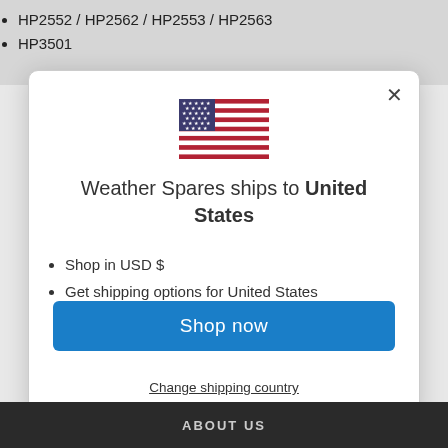HP2552 / HP2562 / HP2553 / HP2563
HP3501
[Figure (illustration): US flag SVG illustration inside a modal dialog]
Weather Spares ships to United States
Shop in USD $
Get shipping options for United States
Shop now
Change shipping country
ABOUT US